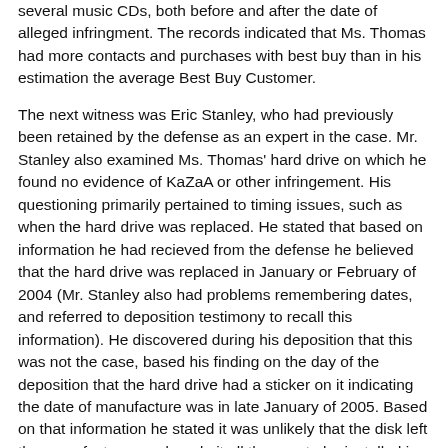several music CDs, both before and after the date of alleged infringment. The records indicated that Ms. Thomas had more contacts and purchases with best buy than in his estimation the average Best Buy Customer.
The next witness was Eric Stanley, who had previously been retained by the defense as an expert in the case. Mr. Stanley also examined Ms. Thomas' hard drive on which he found no evidence of KaZaA or other infringement. His questioning primarily pertained to timing issues, such as when the hard drive was replaced. He stated that based on information he had recieved from the defense he believed that the hard drive was replaced in January or February of 2004 (Mr. Stanley also had problems remembering dates, and referred to deposition testimony to recall this information). He discovered during his deposition that this was not the case, based his finding on the day of the deposition that the hard drive had a sticker on it indicating the date of manufacture was in late January of 2005. Based on that information he stated it was unlikely that the disk left the manufacturer, and made it all the way to be installed in Ms. Thomas' computer by February 21, 2005.